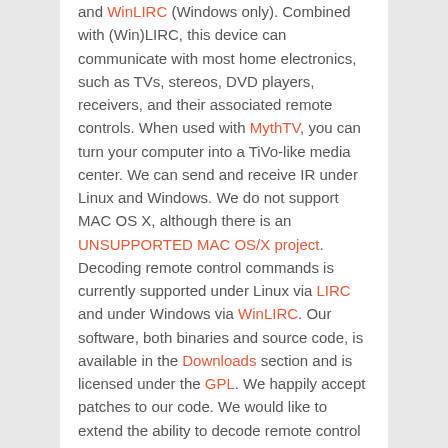and WinLIRC (Windows only). Combined with (Win)LIRC, this device can communicate with most home electronics, such as TVs, stereos, DVD players, receivers, and their associated remote controls. When used with MythTV, you can turn your computer into a TiVo-like media center. We can send and receive IR under Linux and Windows. We do not support MAC OS X, although there is an UNSUPPORTED MAC OS/X project. Decoding remote control commands is currently supported under Linux via LIRC and under Windows via WinLIRC. Our software, both binaries and source code, is available in the Downloads section and is licensed under the GPL. We happily accept patches to our code. We would like to extend the ability to decode remote control signals MAC OS/X either through LIRC or an